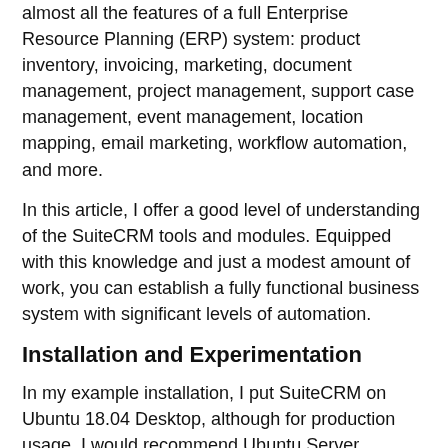almost all the features of a full Enterprise Resource Planning (ERP) system: product inventory, invoicing, marketing, document management, project management, support case management, event management, location mapping, email marketing, workflow automation, and more.
In this article, I offer a good level of understanding of the SuiteCRM tools and modules. Equipped with this knowledge and just a modest amount of work, you can establish a fully functional business system with significant levels of automation.
Installation and Experimentation
In my example installation, I put SuiteCRM on Ubuntu 18.04 Desktop, although for production usage, I would recommend Ubuntu Server.
SuiteCRM operates on a LAMP (Linux, Apache, MySQL, PHP) stack, so you'll need to install the various services to provide the platform. To begin, open a terminal and install all the dependency requirements with the Apt package manager:
sudo apt install mysql-server libapache2-mod-php7.2 apache2 php7.2-zip php7.2-mysql php7.2-mbstring php 7.2-imap php7.2-imap php7.2-xml php7.2-curl php7.2-mbst...